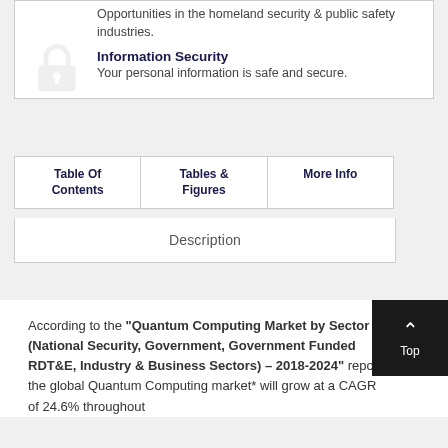Opportunities in the homeland security & public safety industries.
Information Security
Your personal information is safe and secure.
Table Of Contents
Tables & Figures
More Info
Description
According to the "Quantum Computing Market by Sector (National Security, Government, Government Funded RDT&E, Industry & Business Sectors) – 2018-2024" report, the global Quantum Computing market* will grow at a CAGR of 24.6% throughout